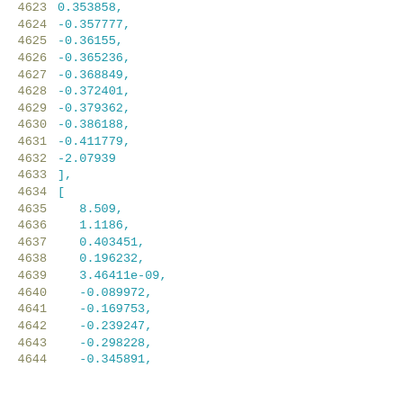4623  0.353858,
4624  -0.357777,
4625  -0.36155,
4626  -0.365236,
4627  -0.368849,
4628  -0.372401,
4629  -0.379362,
4630  -0.386188,
4631  -0.411779,
4632  -2.07939
4633  ],
4634  [
4635  8.509,
4636  1.1186,
4637  0.403451,
4638  0.196232,
4639  3.46411e-09,
4640  -0.089972,
4641  -0.169753,
4642  -0.239247,
4643  -0.298228,
4644  -0.345891,